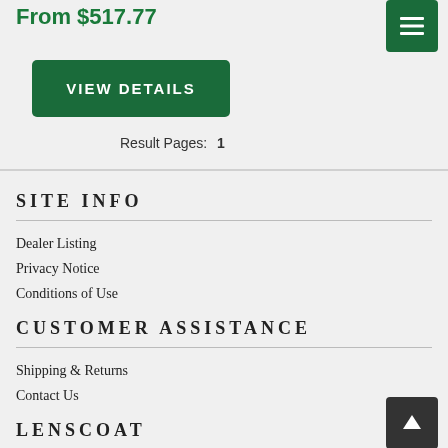From $517.77
VIEW DETAILS
Result Pages:  1
SITE INFO
Dealer Listing
Privacy Notice
Conditions of Use
CUSTOMER ASSISTANCE
Shipping & Returns
Contact Us
LENSCOAT